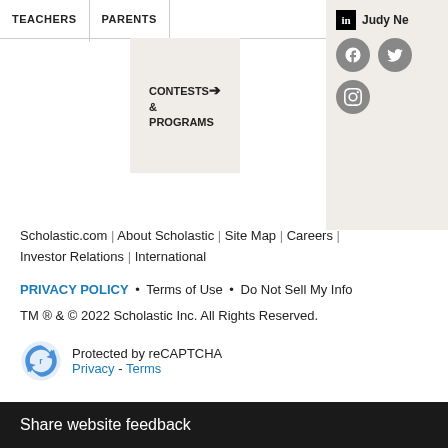TEACHERS   PARENTS   CONTESTS & PROGRAMS   US
[Figure (screenshot): Navigation bar partially visible with TEACHERS, PARENTS, CONTESTS & PROGRAMS menu items and social media icons (LinkedIn, Facebook, Twitter, Instagram) on right panel with beige background. Judy Ne visible next to LinkedIn icon.]
Scholastic.com | About Scholastic | Site Map | Careers | Investor Relations | International
PRIVACY POLICY • Terms of Use • Do Not Sell My Info
TM ® & © 2022 Scholastic Inc. All Rights Reserved.
Protected by reCAPTCHA
Privacy - Terms
Share website feedback